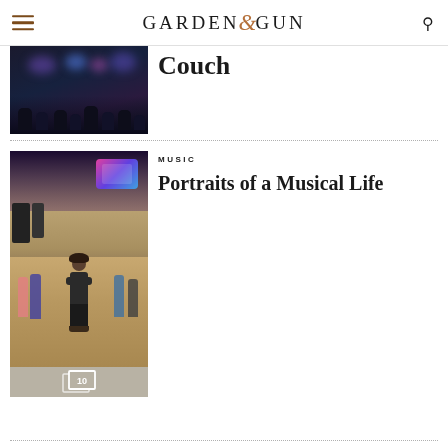GARDEN & GUN
[Figure (photo): Dark concert venue interior with stage lighting, audience visible]
Couch
[Figure (photo): Person standing on arena floor with arms crossed, concert/festival setup in background, with a gallery count badge showing 10]
MUSIC
Portraits of a Musical Life